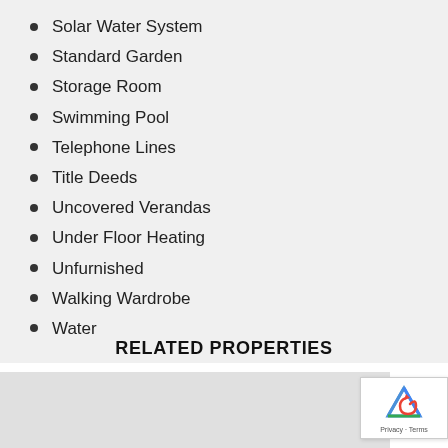Solar Water System
Standard Garden
Storage Room
Swimming Pool
Telephone Lines
Title Deeds
Uncovered Verandas
Under Floor Heating
Unfurnished
Walking Wardrobe
Water
RELATED PROPERTIES
[Figure (photo): Related property image area (partially visible)]